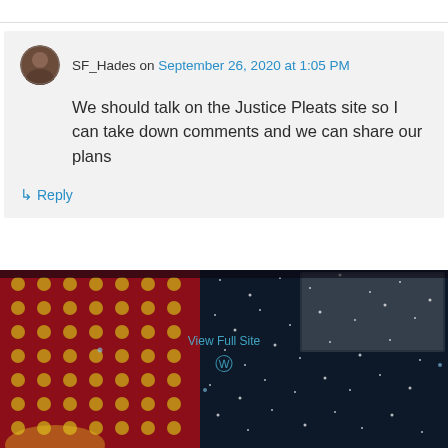SF_Hades on September 26, 2020 at 1:05 PM
We should talk on the Justice Pleats site so I can take down comments and we can share our plans
Reply
[Figure (screenshot): Website footer with dark space/comic book background image showing colorful comic panels and star field, with 'View Full Site' link and WordPress logo]